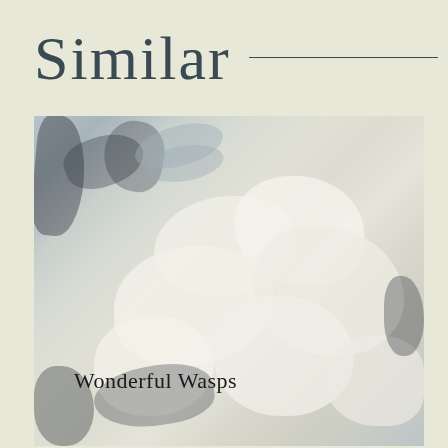Similar
[Figure (photo): Close-up photograph of wasps on a white/cream honeycomb or nest material, with dark wasp bodies visible among the pale white lumpy texture. Text 'Wonderful Wasps' appears overlaid at the bottom left of the image.]
Wonderful Wasps